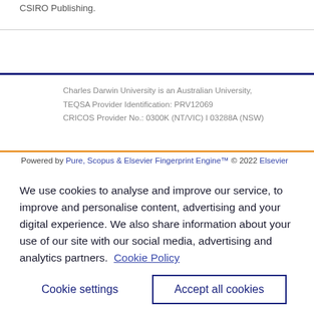CSIRO Publishing.
Charles Darwin University is an Australian University, TEQSA Provider Identification: PRV12069 CRICOS Provider No.: 0300K (NT/VIC) I 03288A (NSW)
Powered by Pure, Scopus & Elsevier Fingerprint Engine™ © 2022 Elsevier
We use cookies to analyse and improve our service, to improve and personalise content, advertising and your digital experience. We also share information about your use of our site with our social media, advertising and analytics partners.  Cookie Policy